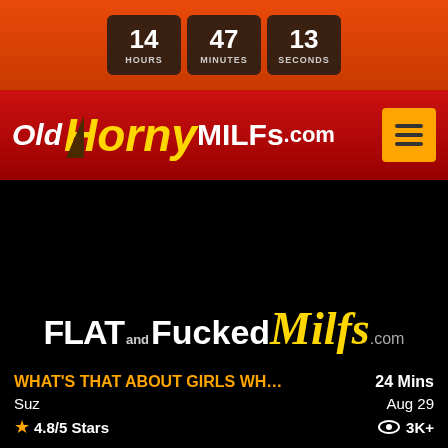[Figure (screenshot): Countdown timer showing 14 hours, 47 minutes, 13 seconds on orange/red background]
[Figure (logo): OldHornyMILFs.com logo on red background with hamburger menu button]
[Figure (logo): FlatAndFuckedMilfs.com logo on black background]
WHAT'S THAT ABOUT GIRLS WH...
24 Mins
Suz
Aug 29
4.8/5 Stars
3K+